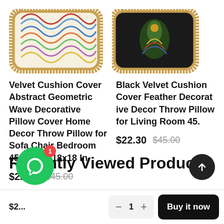[Figure (photo): Colorful geometric wave cushion cover with gold fringe border, cropped top portion visible]
[Figure (photo): Black velvet cushion cover with feather/peacock pattern and gold fringe border, cropped top-right portion visible]
Velvet Cushion Cover Abstract Geometric Wave Decorative Pillow Cover Home Decor Throw Pillow for Sofa Chair Bedroom 45x45 cm 18x18 In
$22.30 $45.00
Black Velvet Cushion Cover Feather Decorative Home Decor Throw Pillow for Living Room 45...
$22.30 $45.00
Recently Viewed Products
$2...
[Figure (screenshot): Quantity selector showing minus, 1, plus with Buy it now button and green chat bubble with badge 1 and scroll-to-top button]